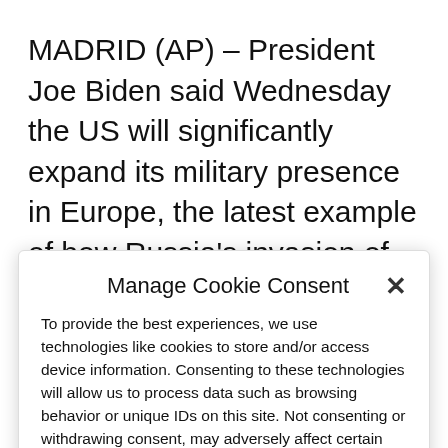MADRID (AP) – President Joe Biden said Wednesday the US will significantly expand its military presence in Europe, the latest example of how Russia's invasion of Ukraine has reshaped plans for the continent's security and prompted a reinvestment in NATO. Among the changes will be a
Manage Cookie Consent
To provide the best experiences, we use technologies like cookies to store and/or access device information. Consenting to these technologies will allow us to process data such as browsing behavior or unique IDs on this site. Not consenting or withdrawing consent, may adversely affect certain features and functions.
Accept
Cookie Policy